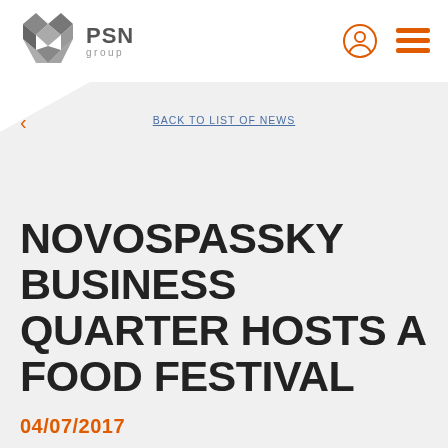[Figure (logo): PSN Group logo — stylized grey box/diamond icon with PSN group text]
BACK TO LIST OF NEWS
NOVOSPASSKY BUSINESS QUARTER HOSTS A FOOD FESTIVAL
04/07/2017